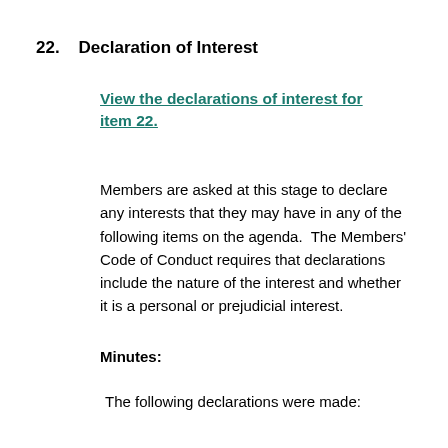22.    Declaration of Interest
View the declarations of interest for item 22.
Members are asked at this stage to declare any interests that they may have in any of the following items on the agenda.  The Members' Code of Conduct requires that declarations include the nature of the interest and whether it is a personal or prejudicial interest.
Minutes:
The following declarations were made: